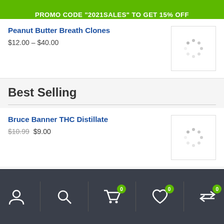PROMO CODE "2021SALES" TO GET 15% OFF
Peanut Butter Breath Clones
$12.00 – $40.00
Best Selling
Bruce Banner THC Distillate
$10.99 $9.00
Grape Void THC Distillate (Phyto Extractions)
$18.00 $15.00
Account | Search | Cart 0 | Wishlist 0 | Compare 0